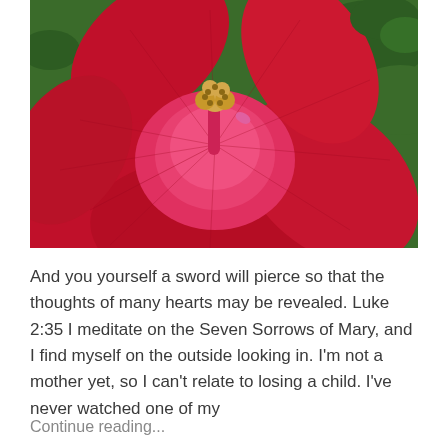[Figure (photo): Close-up photograph of a large red hibiscus flower in full bloom, with visible stamens and pistil in the center, set against a background of green leaves.]
And you yourself a sword will pierce so that the thoughts of many hearts may be revealed. Luke 2:35 I meditate on the Seven Sorrows of Mary, and I find myself on the outside looking in. I'm not a mother yet, so I can't relate to losing a child. I've never watched one of my
Continue reading...